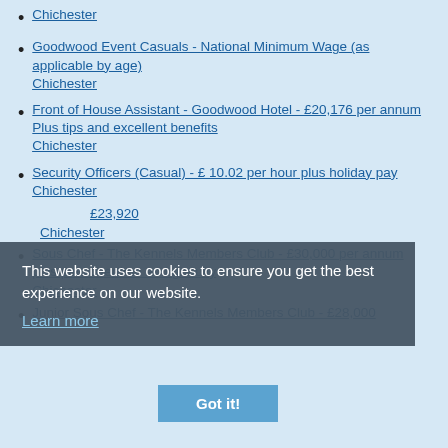Chichester
Goodwood Event Casuals - National Minimum Wage (as applicable by age)
Chichester
Front of House Assistant - Goodwood Hotel - £20,176 per annum Plus tips and excellent benefits
Chichester
Security Officers (Casual) - £ 10.02 per hour plus holiday pay
Chichester
This website uses cookies to ensure you get the best experience on our website.
Learn more
£23,920
Chichester
Sous Chef - The Kennels Members Club - £30,000 per annum plus paid overtime and gratuity
Chichester
Got it!
Junior Sous Chef - The Kennels Members Club - £28,000